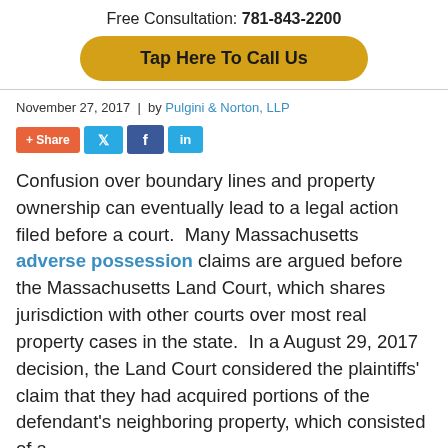Free Consultation: 781-843-2200
[Figure (other): Gold rounded button with text 'Tap Here To Call Us']
November 27, 2017  |  by Pulgini & Norton, LLP
[Figure (other): Social sharing buttons: +Share, Twitter, Facebook, LinkedIn]
Confusion over boundary lines and property ownership can eventually lead to a legal action filed before a court.  Many Massachusetts adverse possession claims are argued before the Massachusetts Land Court, which shares jurisdiction with other courts over most real property cases in the state.  In a August 29, 2017 decision, the Land Court considered the plaintiffs' claim that they had acquired portions of the defendant's neighboring property, which consisted of a